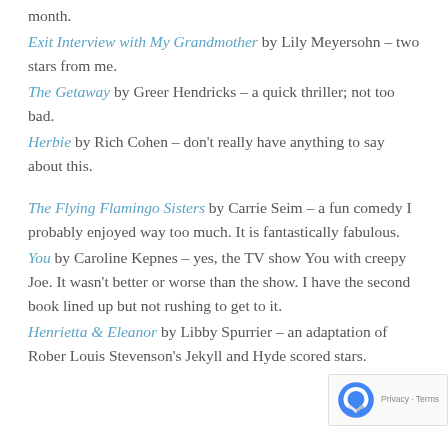month.
Exit Interview with My Grandmother by Lily Meyersohn – two stars from me.
The Getaway by Greer Hendricks – a quick thriller; not too bad.
Herbie by Rich Cohen – don't really have anything to say about this.
The Flying Flamingo Sisters by Carrie Seim – a fun comedy I probably enjoyed way too much. It is fantastically fabulous.
You by Caroline Kepnes – yes, the TV show You with creepy Joe. It wasn't better or worse than the show. I have the second book lined up but not rushing to get to it.
Henrietta & Eleanor by Libby Spurrier – an adaptation of Rober Louis Stevenson's Jekyll and Hyde scored stars.